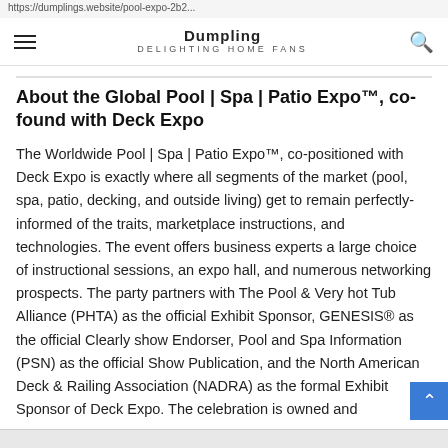https://dumplings.website/pool-expo-2b2...
Dumpling DELIGHTING HOME FANS
About the Global Pool | Spa | Patio Expo™, co-found with Deck Expo
The Worldwide Pool | Spa | Patio Expo™, co-positioned with Deck Expo is exactly where all segments of the market (pool, spa, patio, decking, and outside living) get to remain perfectly-informed of the traits, marketplace instructions, and technologies. The event offers business experts a large choice of instructional sessions, an expo hall, and numerous networking prospects. The party partners with The Pool & Very hot Tub Alliance (PHTA) as the official Exhibit Sponsor, GENESIS® as the official Clearly show Endorser, Pool and Spa Information (PSN) as the official Show Publication, and the North American Deck & Railing Association (NADRA) as the formal Exhibit Sponsor of Deck Expo. The celebration is owned and